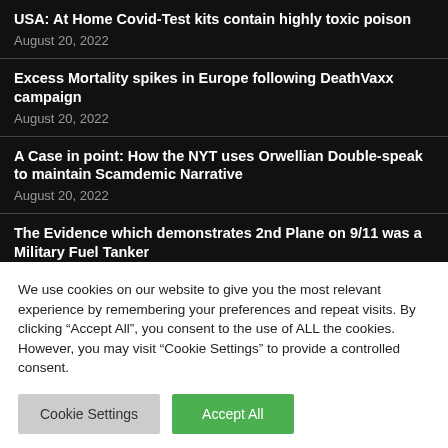USA: At Home Covid-Test kits contain highly toxic poison
August 20, 2022
Excess Mortality spikes in Europe following DeathVaxx campaign
August 20, 2022
A Case in point: How the NYT uses Orwellian Double-speak to maintain Scamdemic Narrative
August 20, 2022
The Evidence which demonstrates 2nd Plane on 9/11 was a Military Fuel Tanker
August 20, 2022
Santiago de Compostela: The Convent of the Poor Clares at San
We use cookies on our website to give you the most relevant experience by remembering your preferences and repeat visits. By clicking “Accept All”, you consent to the use of ALL the cookies. However, you may visit "Cookie Settings" to provide a controlled consent.
Cookie Settings | Accept All